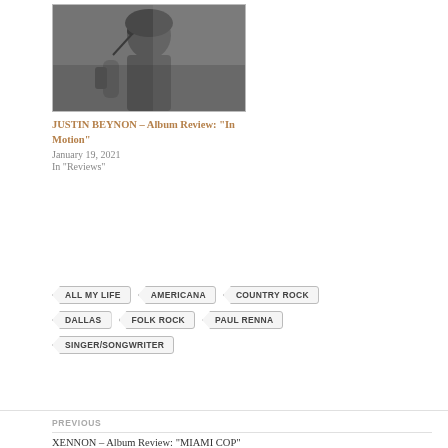[Figure (photo): Black and white photo of a man singing into a microphone, holding a guitar, with long hair]
JUSTIN BEYNON – Album Review: “In Motion”
January 19, 2021
In "Reviews"
ALL MY LIFE
AMERICANA
COUNTRY ROCK
DALLAS
FOLK ROCK
PAUL RENNA
SINGER/SONGWRITER
PREVIOUS
XENNON – Album Review: “MIAMI COP”